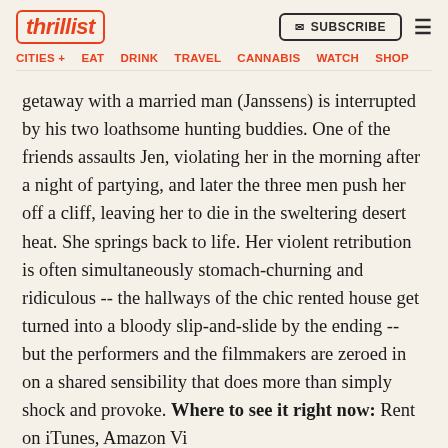thrillist | SUBSCRIBE | CITIES + | EAT | DRINK | TRAVEL | CANNABIS | WATCH | SHOP
getaway with a married man (Janssens) is interrupted by his two loathsome hunting buddies. One of the friends assaults Jen, violating her in the morning after a night of partying, and later the three men push her off a cliff, leaving her to die in the sweltering desert heat. She springs back to life. Her violent retribution is often simultaneously stomach-churning and ridiculous -- the hallways of the chic rented house get turned into a bloody slip-and-slide by the ending -- but the performers and the filmmakers are zeroed in on a shared sensibility that does more than simply shock and provoke. Where to see it right now: Rent on iTunes, Amazon Video, VUDU, and YouTube (watch the trailer)